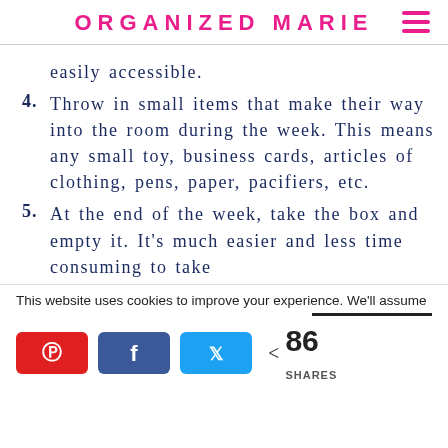ORGANIZED MARIE
easily accessible.
4. Throw in small items that make their way into the room during the week.  This means any small toy, business cards, articles of clothing, pens, paper, pacifiers, etc.
5. At the end of the week, take the box and empty it.  It’s much easier and less time consuming to take
This website uses cookies to improve your experience. We’ll assume
86 SHARES